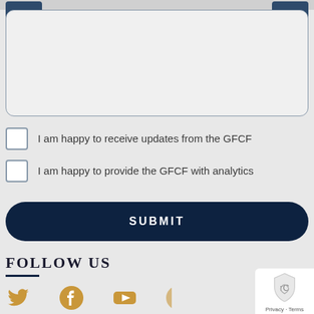[Figure (screenshot): Textarea input box (message field) partially visible at top of page]
I am happy to receive updates from the GFCF
I am happy to provide the GFCF with analytics
SUBMIT
FOLLOW US
[Figure (illustration): Social media icons: Twitter (bird), Facebook (f), YouTube (play button), and partial fourth icon in gold/amber color]